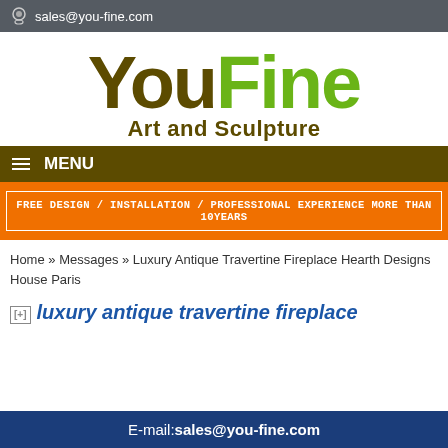sales@you-fine.com
[Figure (logo): YouFine Art and Sculpture logo. 'You' in dark brown/olive, 'Fine' in green, subtitle 'Art and Sculpture' in dark brown.]
MENU
FREE DESIGN / INSTALLATION / PROFESSIONAL EXPERIENCE MORE THAN 10YEARS
Home » Messages » Luxury Antique Travertine Fireplace Hearth Designs House Paris
luxury antique travertine fireplace
E-mail:sales@you-fine.com